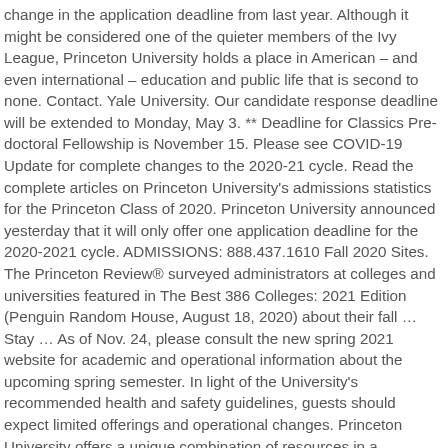change in the application deadline from last year. Although it might be considered one of the quieter members of the Ivy League, Princeton University holds a place in American – and even international – education and public life that is second to none. Contact. Yale University. Our candidate response deadline will be extended to Monday, May 3. ** Deadline for Classics Pre-doctoral Fellowship is November 15. Please see COVID-19 Update for complete changes to the 2020-21 cycle. Read the complete articles on Princeton University's admissions statistics for the Princeton Class of 2020. Princeton University announced yesterday that it will only offer one application deadline for the 2020-2021 cycle. ADMISSIONS: 888.437.1610 Fall 2020 Sites. The Princeton Review® surveyed administrators at colleges and universities featured in The Best 386 Colleges: 2021 Edition (Penguin Random House, August 18, 2020) about their fall ... Stay ... As of Nov. 24, please consult the new spring 2021 website for academic and operational information about the upcoming spring semester. In light of the University's recommended health and safety guidelines, guests should expect limited offerings and operational changes. Princeton University offers a unique combination of resources in a community that provides unusual cultural and intellectual opportunities. Deadline dates are subject to change up until